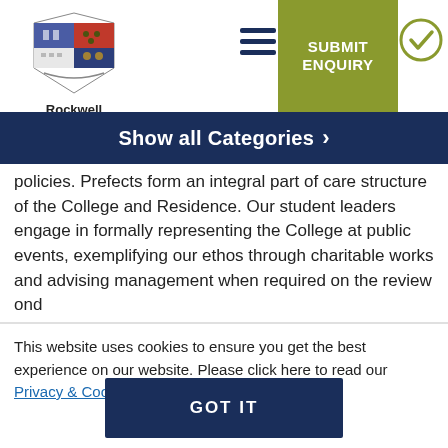[Figure (logo): Rockwell College crest/coat of arms logo with shield design]
Rockwell College
[Figure (other): Hamburger menu icon (three horizontal lines)]
SUBMIT ENQUIRY
[Figure (other): Circle with checkmark icon]
Show all Categories >
policies. Prefects form an integral part of care structure of the College and Residence. Our student leaders engage in formally representing the College at public events, exemplifying our ethos through charitable works and advising management when required on the review ond
This website uses cookies to ensure you get the best experience on our website. Please click here to read our Privacy & Cookie Policy
GOT IT